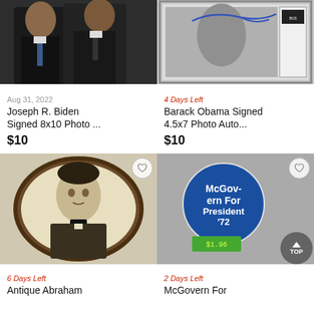[Figure (photo): Two men in suits talking, partially visible at top of page (Biden and Obama)]
[Figure (photo): Signed photo in display case with authentication label, partially visible at top]
Aug 31, 2022
Joseph R. Biden Signed 8x10 Photo ...
$10
4 Days Left
Barack Obama Signed 4.5x7 Photo Auto...
$10
[Figure (photo): Antique oval-framed portrait of Abraham Lincoln in black and white]
[Figure (photo): McGovern For President '72 campaign button pinback with green price tag sticker]
6 Days Left
Antique Abraham
2 Days Left
McGovern For